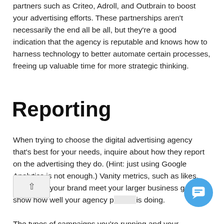Additionally, you can inquire if they work with technology partners such as Criteo, Adroll, and Outbrain to boost your advertising efforts. These partnerships aren't necessarily the end all be all, but they're a good indication that the agency is reputable and knows how to harness technology to better automate certain processes, freeing up valuable time for more strategic thinking.
Reporting
When trying to choose the digital advertising agency that's best for your needs, inquire about how they report on the advertising they do. (Hint: just using Google Analytics is not enough.) Vanity metrics, such as likes, won't help your brand meet your larger business goals or show how well your agency performing is doing. The types of campaigns you're running and your business